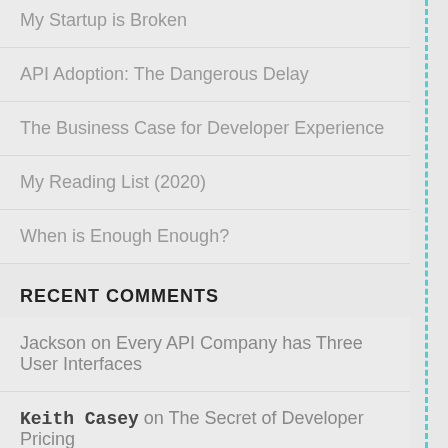My Startup is Broken
API Adoption: The Dangerous Delay
The Business Case for Developer Experience
My Reading List (2020)
When is Enough Enough?
RECENT COMMENTS
Jackson on Every API Company has Three User Interfaces
Keith Casey on The Secret of Developer Pricing
Aaron on The Secret of Developer Pricing
Bud Manz on The Secret of Developer Pricing